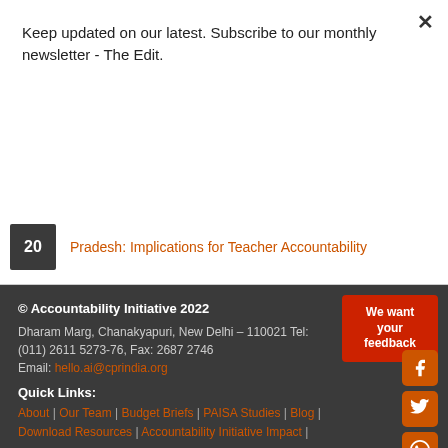Keep updated on our latest. Subscribe to our monthly newsletter - The Edit.
Subscribe
Pradesh: Implications for Teacher Accountability
© Accountability Initiative 2022
Dharam Marg, Chanakyapuri, New Delhi – 110021 Tel: (011) 2611 5273-76, Fax: 2687 2746
Email: hello.ai@cprindia.org
We want your feedback
Quick Links:
About | Our Team | Budget Briefs | PAISA Studies | Blog | Download Resources | Accountability Initiative Impact |